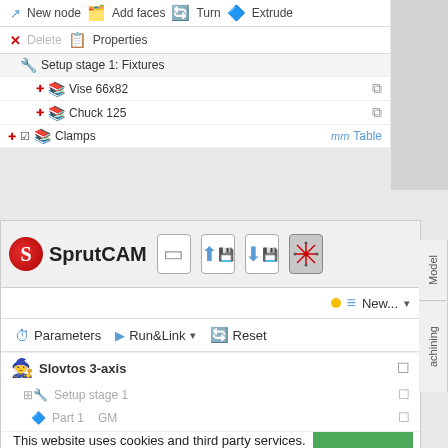[Figure (screenshot): SprutCAM software UI - top portion showing toolbar with New node, Add faces, Turn, Extrude, Delete, Properties buttons and a fixture tree showing Setup stage 1: Fixtures with Vise 66x82, Chuck 125, and Clamps items]
[Figure (screenshot): SprutCAM software UI - bottom portion showing SprutCAM logo header bar with file buttons, New operation dropdown, Parameters, Run&Link, Reset toolbar, Slovtos 3-axis tree item, Setup stage 1, and cookie consent banner with GOT IT button]